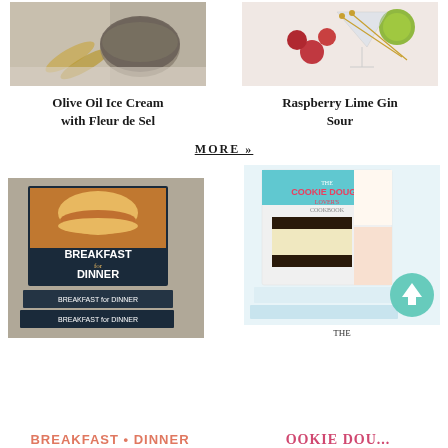[Figure (photo): Close-up of gold spoons and a ceramic bowl with flour/salt, grey tones]
[Figure (photo): Martini glass with raspberries, lime slices, cocktail picks on pink background]
Olive Oil Ice Cream with Fleur de Sel
Raspberry Lime Gin Sour
MORE »
[Figure (photo): Stack of Breakfast for Dinner cookbooks showing burger on cover]
[Figure (photo): The Cookie Dough Lover's Cookbook stacked with teal scroll-up button]
THE
BREAKFAST FOR DINNER
COOKIE DOU...